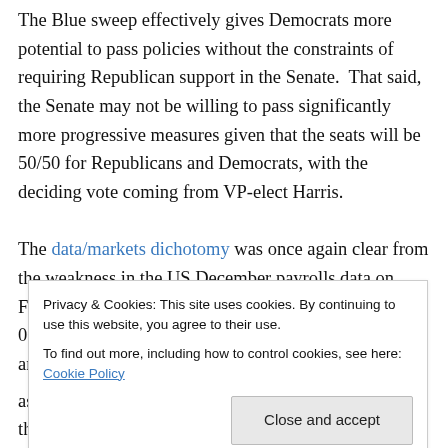The Blue sweep effectively gives Democrats more potential to pass policies without the constraints of requiring Republican support in the Senate. That said, the Senate may not be willing to pass significantly more progressive measures given that the seats will be 50/50 for Republicans and Democrats, with the deciding vote coming from VP-elect Harris.
The data/markets dichotomy was once again clear from the weakness in the US December payrolls data on Friday, which revealed a 140,000 drop (consensus +50, 000) as Covid restrictions severely impacted leisure and hospitality
Privacy & Cookies: This site uses cookies. By continuing to use this website, you agree to their use. To find out more, including how to control cookies, see here: Cookie Policy
Close and accept
assets overall registered a stellar first trading week of the